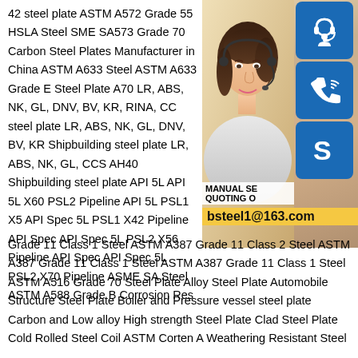42 steel plate ASTM A572 Grade 55 HSLA Steel SME SA573 Grade 70 Carbon Steel Plates Manufacturer in China ASTM A633 Steel ASTM A633 Grade E Steel Plate A70 LR, ABS, NK, GL, DNV, BV, KR, RINA, CC steel plate LR, ABS, NK, GL, DNV, BV, KR Shipbuilding steel plate LR, ABS, NK, GL, CCS AH40 Shipbuilding steel plate API 5L API 5L X60 PSL2 Pipeline API 5L PSL1 X5 API Spec 5L PSL1 X42 Pipeline API Spec API Spec 5L PSL2 X56 Pipeline API Spec API Spec 5L PSL2 X70 Pipeline ASME SA Steel ASTM A588 Grade B Corrosion Res Grade 11 Class 1 Steel ASTM A387 Grade 11 Class 2 Steel ASTM A387 Grade 11 Class 1 Steel ASTM A387 Grade 11 Class 1 Steel ASTM A516 Grade 70 Steel Plate Alloy Steel Plate Automobile Structure Steel Plate Boiler and Pressure vessel steel plate Carbon and Low alloy High strength Steel Plate Clad Steel Plate Cold Rolled Steel Coil ASTM Corten A Weathering Resistant Steel
[Figure (photo): Customer service representative woman with headset, with blue contact icons (headset, phone, Skype) on the right side, and an overlay showing MANUAL SE, QUOTING O, and bsteel1@163.com]